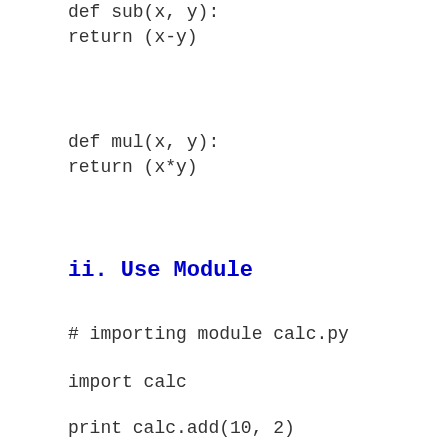def sub(x, y):
return (x-y)
def mul(x, y):
return (x*y)
ii. Use Module
# importing module calc.py
import calc
print calc.add(10, 2)
# from calc import mul